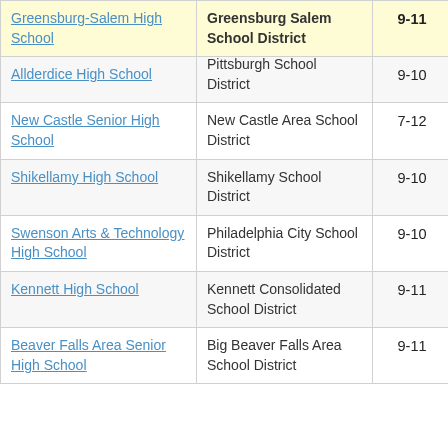| School | District | Grades | Value | (partial col) |
| --- | --- | --- | --- | --- |
| Greensburg-Salem High School | Greensburg Salem School District | 9-11 | -6.3 | 2 |
| Allderdice High School | Pittsburgh School District | 9-10 | -12.2 |  |
| New Castle Senior High School | New Castle Area School District | 7-12 | -13.1 |  |
| Shikellamy High School | Shikellamy School District | 9-10 | -15.2 |  |
| Swenson Arts & Technology High School | Philadelphia City School District | 9-10 | -13.5 |  |
| Kennett High School | Kennett Consolidated School District | 9-11 | -10.0 |  |
| Beaver Falls Area Senior High School | Big Beaver Falls Area School District | 9-11 | -17.4 |  |